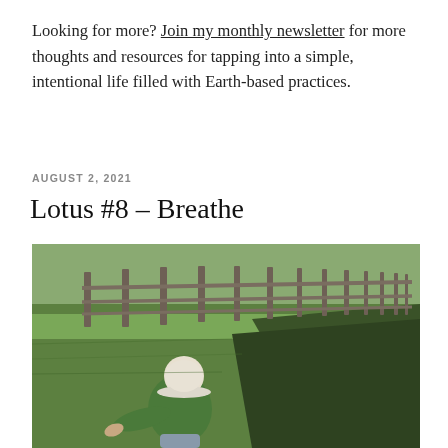Looking for more? Join my monthly newsletter for more thoughts and resources for tapping into a simple, intentional life filled with Earth-based practices.
AUGUST 2, 2021
Lotus #8 – Breathe
[Figure (photo): A child wearing a white bucket hat and green hoodie leans forward over a grassy ditch near a wooden split-rail fence running along a green field.]